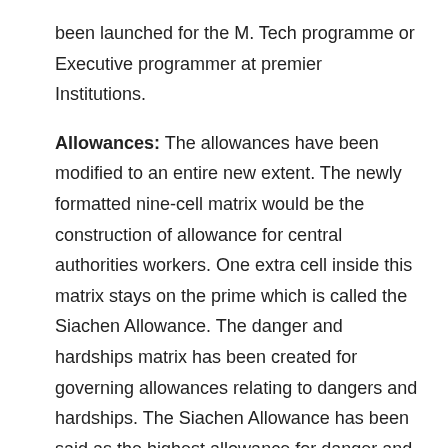been launched for the M. Tech programme or Executive programmer at premier Institutions.
Allowances: The allowances have been modified to an entire new extent. The newly formatted nine-cell matrix would be the construction of allowance for central authorities workers. One extra cell inside this matrix stays on the prime which is called the Siachen Allowance. The danger and hardships matrix has been created for governing allowances relating to dangers and hardships. The Siachen Allowance has been said as the highest allowance for danger and hardships and it is a very important word that there isn't any different R-H allowance that is greater than the Siachen Allowance.